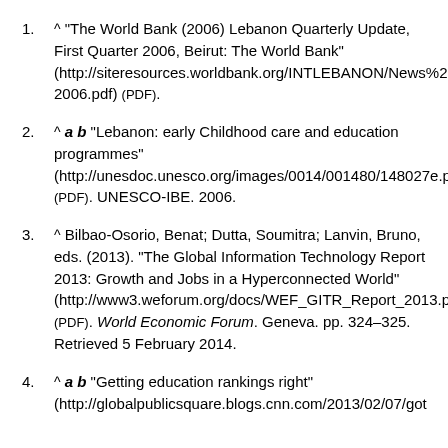^ "The World Bank (2006) Lebanon Quarterly Update, First Quarter 2006, Beirut: The World Bank" (http://siteresources.worldbank.org/INTLEBANON/News%20and%20Events/20883669/Q1-2006.pdf) (PDF).
^ a b "Lebanon: early Childhood care and education programmes" (http://unesdoc.unesco.org/images/0014/001480/148027e.pdf) (PDF). UNESCO-IBE. 2006.
^ Bilbao-Osorio, Benat; Dutta, Soumitra; Lanvin, Bruno, eds. (2013). "The Global Information Technology Report 2013: Growth and Jobs in a Hyperconnected World" (http://www3.weforum.org/docs/WEF_GITR_Report_2013.pdf) (PDF). World Economic Forum. Geneva. pp. 324–325. Retrieved 5 February 2014.
^ a b "Getting education rankings right" (http://globalpublicsquare.blogs.cnn.com/2013/02/07/got...